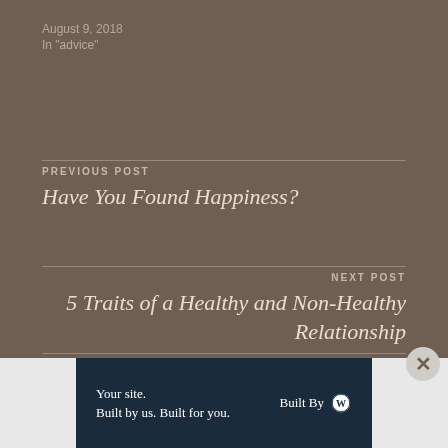August 9, 2018
In "advice"
PREVIOUS POST
Have You Found Happiness?
NEXT POST
5 Traits of a Healthy and Non-Healthy Relationship
[Figure (other): Close button (X) circle]
[Figure (other): Advertisement banner: 'Your site. Built by us. Built for you.' with WordPress logo and 'Built By' text on dark navy background]